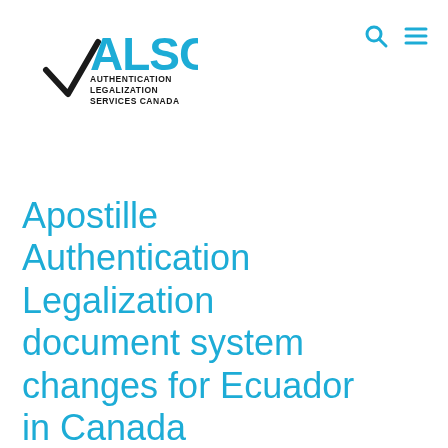[Figure (logo): ALSC Authentication Legalization Services Canada logo with checkmark and blue text]
[Figure (other): Search icon (magnifying glass) and hamburger menu icon in teal/blue color]
Apostille Authentication Legalization document system changes for Ecuador in Canada